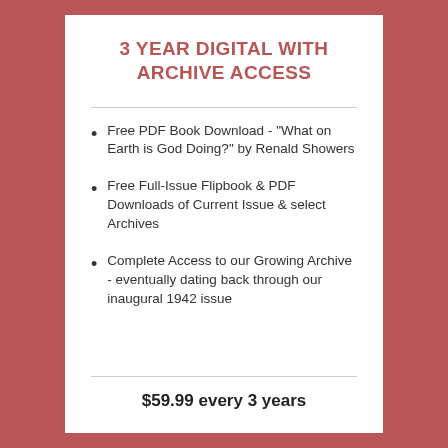3 YEAR DIGITAL WITH ARCHIVE ACCESS
Free PDF Book Download - "What on Earth is God Doing?" by Renald Showers
Free Full-Issue Flipbook & PDF Downloads of Current Issue & select Archives
Complete Access to our Growing Archive - eventually dating back through our inaugural 1942 issue
$59.99 every 3 years